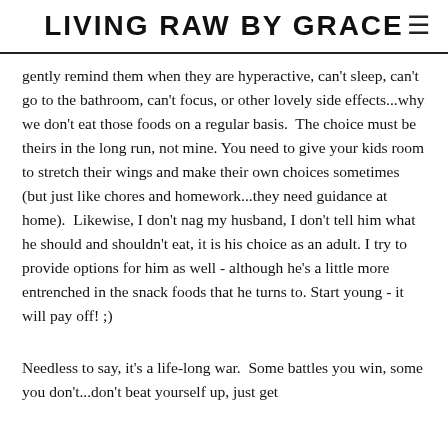LIVING RAW BY GRACE
gently remind them when they are hyperactive, can't sleep, can't go to the bathroom, can't focus, or other lovely side effects...why we don't eat those foods on a regular basis.  The choice must be theirs in the long run, not mine. You need to give your kids room to stretch their wings and make their own choices sometimes (but just like chores and homework...they need guidance at home).  Likewise, I don't nag my husband, I don't tell him what he should and shouldn't eat, it is his choice as an adult. I try to provide options for him as well - although he's a little more entrenched in the snack foods that he turns to. Start young - it will pay off! ;)
Needless to say, it's a life-long war.  Some battles you win, some you don't...don't beat yourself up, just get